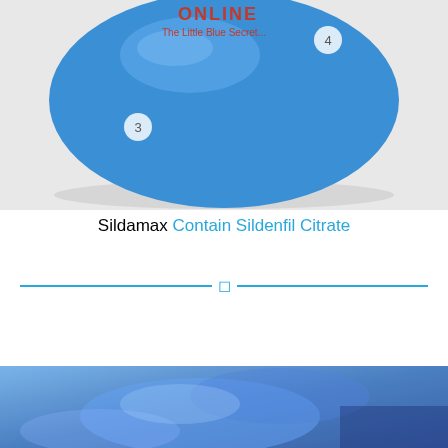[Figure (photo): A large blue oval pill/tablet photographed against a white background, with numbered annotation badges 3 and 4 overlaid. The pill resembles a Sildamax tablet. Red and blue text partially visible at top reading 'ONLINE - The Little Blue Secret...' with annotation numbers 3 on the pill body and 4 at the upper right.]
Sildamax Contain Sildenfil Citrate
[Figure (photo): Close-up photo of blue pills/tablets with a blurred blue background, shown at the bottom of the page.]